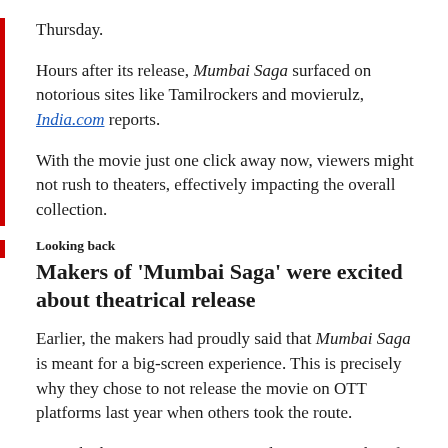Thursday.
Hours after its release, Mumbai Saga surfaced on notorious sites like Tamilrockers and movierulz, India.com reports.
With the movie just one click away now, viewers might not rush to theaters, effectively impacting the overall collection.
Looking back
Makers of 'Mumbai Saga' were excited about theatrical release
Earlier, the makers had proudly said that Mumbai Saga is meant for a big-screen experience. This is precisely why they chose to not release the movie on OTT platforms last year when others took the route.
"Let's be honest, it's a common industry notion that if an actor is not confident of a film, he dumps it on OTT," Abraham said recently.